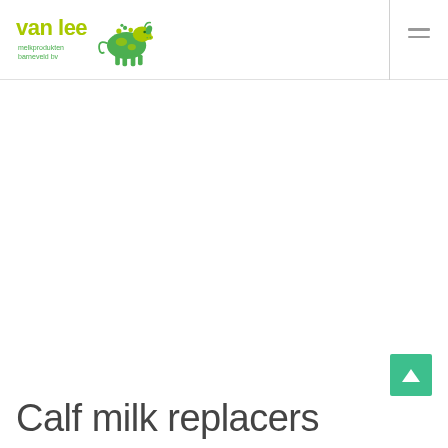van lee melkprodukten barneveld bv
Calf milk replacers